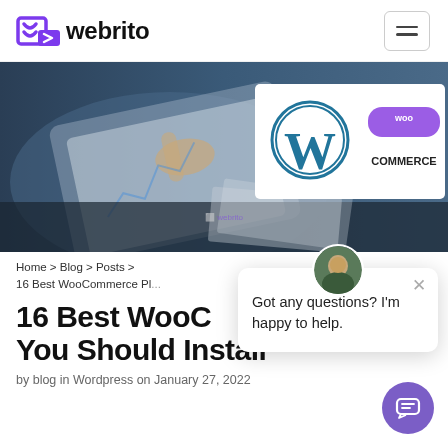[Figure (logo): Webrito logo with stylized W icon in purple and the text 'webrito']
[Figure (photo): Hero image showing hands touching a tablet displaying charts, with WordPress and WooCommerce logos overlaid on the right]
Home > Blog > Posts > 16 Best WooCommerce Pl...
16 Best WooC... You Should Install
by blog in Wordpress on January 27, 2022
[Figure (screenshot): Chat popup with avatar, close button, and message 'Got any questions? I'm happy to help.']